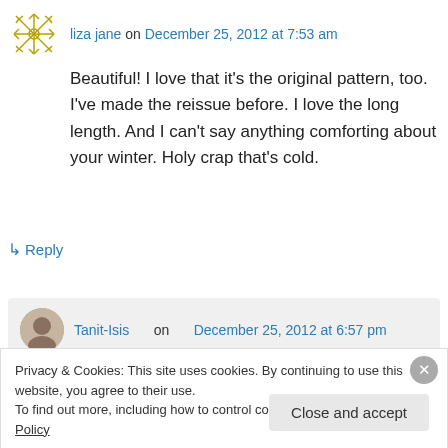liza jane on December 25, 2012 at 7:53 am
Beautiful! I love that it's the original pattern, too. I've made the reissue before. I love the long length. And I can't say anything comforting about your winter. Holy crap that's cold.
↳ Reply
Tanit-Isis on December 25, 2012 at 6:57 pm
Privacy & Cookies: This site uses cookies. By continuing to use this website, you agree to their use.
To find out more, including how to control cookies, see here: Cookie Policy